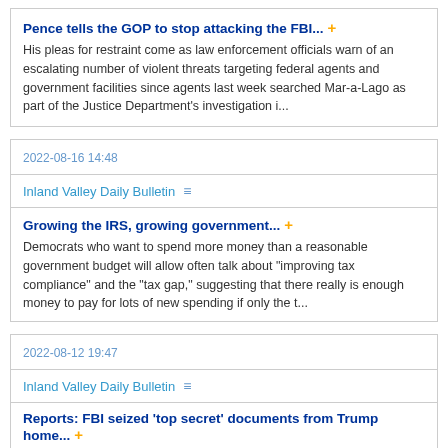Pence tells the GOP to stop attacking the FBI... +
His pleas for restraint come as law enforcement officials warn of an escalating number of violent threats targeting federal agents and government facilities since agents last week searched Mar-a-Lago as part of the Justice Department's investigation i...
2022-08-16 14:48
Inland Valley Daily Bulletin
Growing the IRS, growing government... +
Democrats who want to spend more money than a reasonable government budget will allow often talk about "improving tax compliance" and the "tax gap," suggesting that there really is enough money to pay for lots of new spending if only the t...
2022-08-12 19:47
Inland Valley Daily Bulletin
Reports: FBI seized 'top secret' documents from Trump home... +
The FBI recovered several documents that were labeled "top secret" from former President Donald Trump's Mar-a-Lago property...